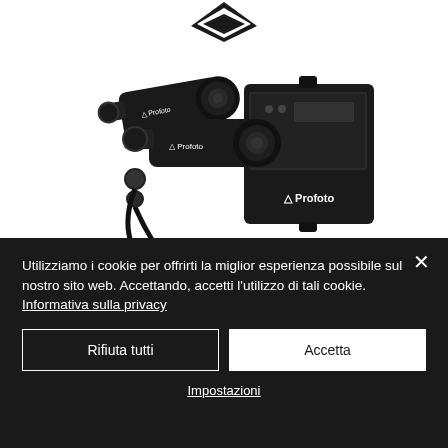[Figure (photo): Profoto professional photography lighting equipment: two flash heads and a power pack unit, all in black, with Profoto branding visible]
Utilizziamo i cookie per offrirti la miglior esperienza possibile sul nostro sito web. Accettando, accetti l'utilizzo di tali cookie. Informativa sulla privacy
Rifiuta tutti
Accetta
Impostazioni